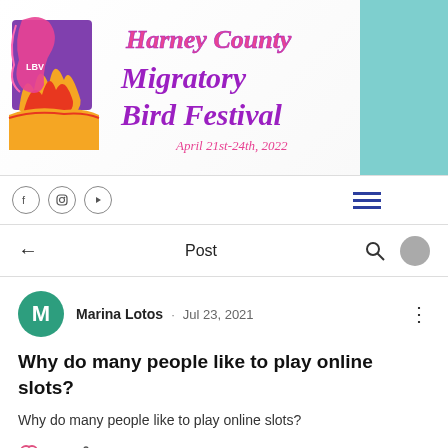[Figure (logo): Harney County Migratory Bird Festival logo with colorful bird graphic and script text reading 'Harney County Migratory Bird Festival April 21st-24th, 2022' on white background with teal sidebar]
Post
Marina Lotos · Jul 23, 2021
Why do many people like to play online slots?
Why do many people like to play online slots?
0  Share